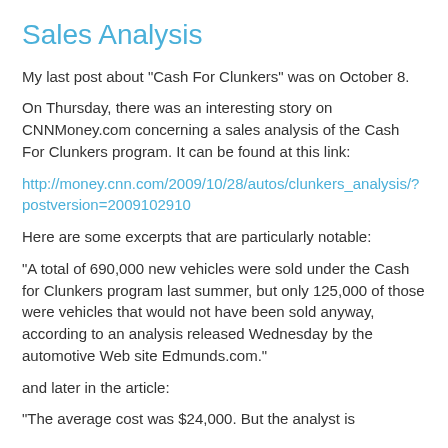Sales Analysis
My last post about "Cash For Clunkers" was on October 8.
On Thursday, there was an interesting story on CNNMoney.com concerning a sales analysis of the Cash For Clunkers program. It can be found at this link:
http://money.cnn.com/2009/10/28/autos/clunkers_analysis/?postversion=2009102910
Here are some excerpts that are particularly notable:
"A total of 690,000 new vehicles were sold under the Cash for Clunkers program last summer, but only 125,000 of those were vehicles that would not have been sold anyway, according to an analysis released Wednesday by the automotive Web site Edmunds.com."
and later in the article:
"The average cost was $24,000. But the analyst is...